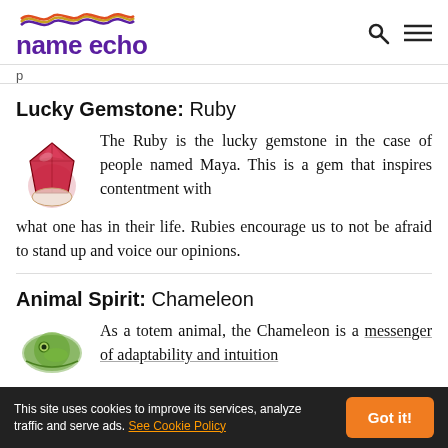name echo
p
Lucky Gemstone: Ruby
[Figure (illustration): Ruby gemstone illustration]
The Ruby is the lucky gemstone in the case of people named Maya. This is a gem that inspires contentment with what one has in their life. Rubies encourage us to not be afraid to stand up and voice our opinions.
Animal Spirit: Chameleon
[Figure (illustration): Chameleon animal spirit illustration]
As a totem animal, the Chameleon is a messenger of adaptability and intuition
This site uses cookies to improve its services, analyze traffic and serve ads. See Cookie Policy